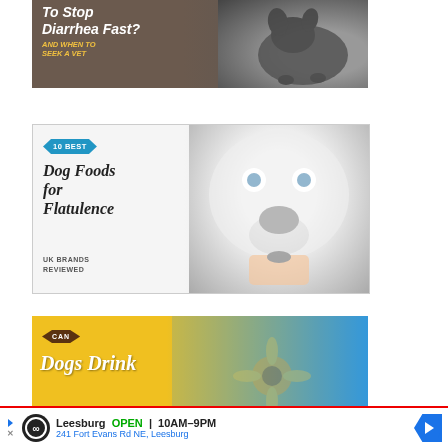[Figure (photo): Dark-themed article thumbnail with a puppy lying down. Text overlay reads 'To Stop Diarrhea Fast?' and 'AND WHEN TO SEEK A VET']
[Figure (photo): Article thumbnail featuring a white dog being fed a treat. Blue hexagon badge reads '10 BEST'. Title text: 'Dog Foods for Flatulence' with subtitle 'UK BRANDS REVIEWED']
[Figure (photo): Article thumbnail with yellow and blue background, sunflowers. Brown hexagon badge reads 'CAN'. Large italic text reads 'Dogs Drink']
[Figure (other): Advertisement banner for Leesburg store. Logo circle with infinity-like symbol. Text: 'Leesburg OPEN 10AM-9PM, 241 Fort Evans Rd NE, Leesburg'. Blue arrow diamond on right.]